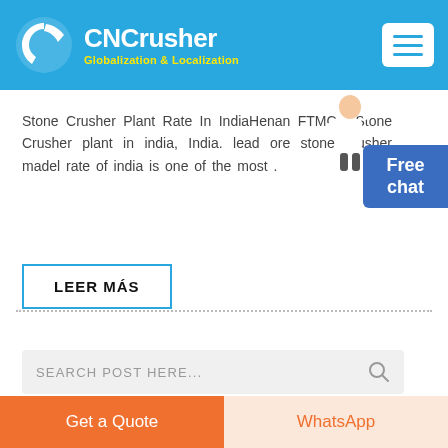CNCrusher Globalization & Localization
Stone Crusher Plant Rate In IndiaHenan FTMC . Stone Crusher plant in india, India. lead ore stone crusher madel rate of india is one of the most .
LEER MÁS
[Figure (illustration): Free chat widget with person illustration and blue button]
SEARCH POST HERE...